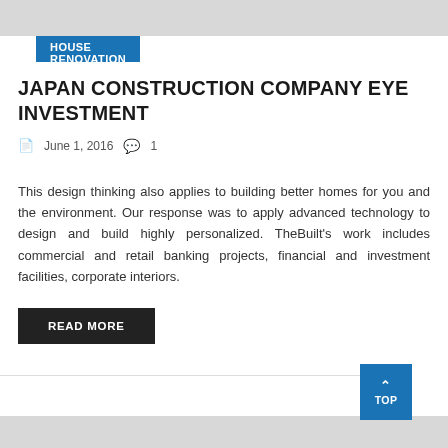HOUSE RENOVATION
JAPAN CONSTRUCTION COMPANY EYE INVESTMENT
June 1, 2016  1
This design thinking also applies to building better homes for you and the environment. Our response was to apply advanced technology to design and build highly personalized. TheBuilt's work includes commercial and retail banking projects, financial and investment facilities, corporate interiors.
READ MORE
TOP